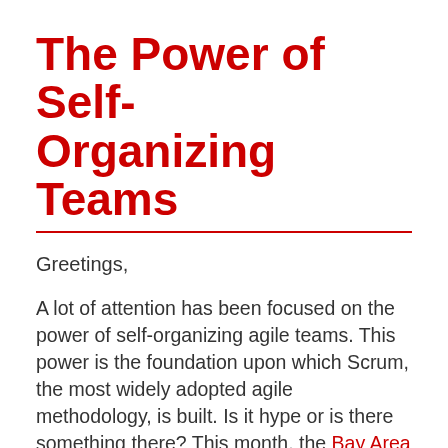The Power of Self-Organizing Teams
Greetings,
A lot of attention has been focused on the power of self-organizing agile teams. This power is the foundation upon which Scrum, the most widely adopted agile methodology, is built. Is it hype or is there something there? This month, the Bay Area Engineering Managers Suport Group will experience how a group can self-organize into a team, and how